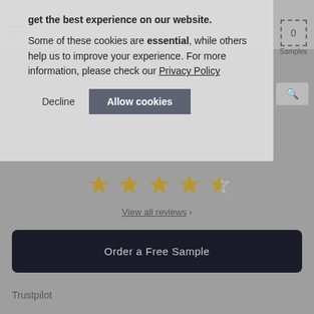[Figure (screenshot): Cormar carpets website screenshot showing navigation bar with hamburger menu, CORMAR logo, and samples badge with count 0]
Some of these cookies are essential, while others help us to improve your experience. For more information, please check our Privacy Policy
Decline
Allow cookies
Suitable for Heavy Domestic / Medium Contract use
4 Metres, 5 Metres
[Figure (other): 4 full gold stars and 1 half gold star rating]
View all reviews >
Order a Free Sample
Trustpilot